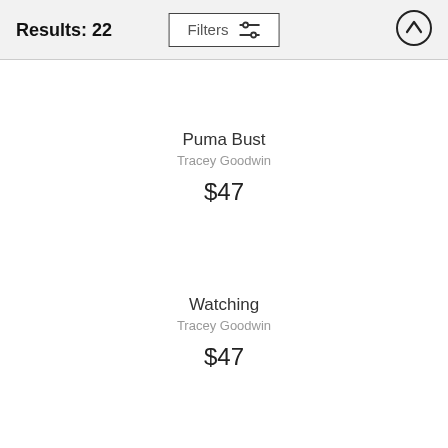Results: 22
Puma Bust
Tracey Goodwin
$47
Watching
Tracey Goodwin
$47